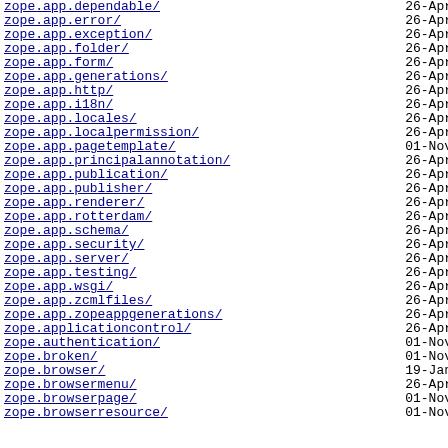zope.app.dependable/ 26-Apr
zope.app.error/ 26-Apr
zope.app.exception/ 26-Apr
zope.app.folder/ 26-Apr
zope.app.form/ 26-Apr
zope.app.generations/ 26-Apr
zope.app.http/ 26-Apr
zope.app.i18n/ 26-Apr
zope.app.locales/ 26-Apr
zope.app.localpermission/ 26-Apr
zope.app.pagetemplate/ 01-Nov
zope.app.principalannotation/ 26-Apr
zope.app.publication/ 26-Apr
zope.app.publisher/ 26-Apr
zope.app.renderer/ 26-Apr
zope.app.rotterdam/ 26-Apr
zope.app.schema/ 26-Apr
zope.app.security/ 26-Apr
zope.app.server/ 26-Apr
zope.app.testing/ 26-Apr
zope.app.wsgi/ 26-Apr
zope.app.zcmlfiles/ 26-Apr
zope.app.zopeappgenerations/ 26-Apr
zope.applicationcontrol/ 26-Apr
zope.authentication/ 01-Nov
zope.broken/ 01-Nov
zope.browser/ 19-Jan
zope.browsermenu/ 26-Apr
zope.browserpage/ 01-Nov
zope.browserresource/ 01-Nov